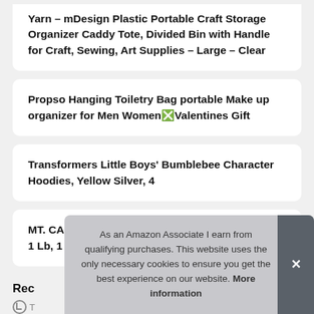Yarn – mDesign Plastic Portable Craft Storage Organizer Caddy Tote, Divided Bin with Handle for Craft, Sewing, Art Supplies – Large – Clear
Propso Hanging Toiletry Bag portable Make up organizer for Men Women❎Valentines Gift
Transformers Little Boys' Bumblebee Character Hoodies, Yellow Silver, 4
MT. CAPRA SINCE 1928 Double Bonded Protein – 1 Lb, 1 Pound – Dark Chocolate
Rec
As an Amazon Associate I earn from qualifying purchases. This website uses the only necessary cookies to ensure you get the best experience on our website. More information